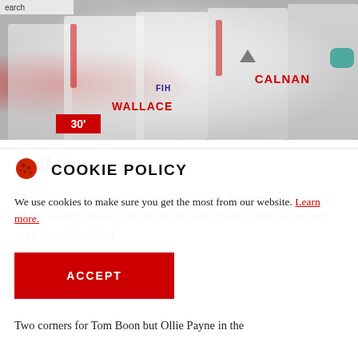[Figure (photo): Sports photo showing field hockey players in white England jerseys with red accents (FIH logo visible), names CALNAN and WALLACE visible on jerseys. Players appear to be in a huddle. A red badge showing '30'' is overlaid at bottom-left of image.]
Half time
There's the interval and England are in front. Belgium with a couple of big chances toward the end of the half, firstly Payne saving very well from Van Aubel
COOKIE POLICY
We use cookies to make sure you get the most from our website. Learn more.
ACCEPT
Two corners for Tom Boon but Ollie Payne in the